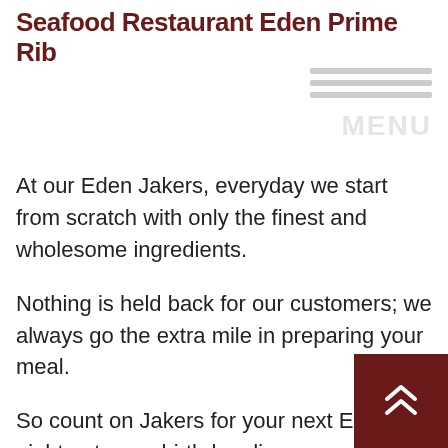Seafood Restaurant Eden Prime Rib
At our Eden Jakers, everyday we start from scratch with only the finest and wholesome ingredients.
Nothing is held back for our customers; we always go the extra mile in preparing your meal.
So count on Jakers for your next Eden night out, your birthday dinner, your anniversary, a family reunion, or any time you just want to be spoiled with great food and a clean and lively environment.